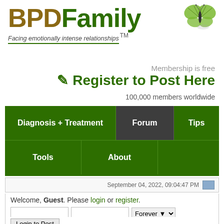[Figure (logo): BPDFamily logo with butterfly, tagline 'Facing emotionally intense relationships TM']
Membership is free
Register to Post Here
100,000 members worldwide
[Figure (screenshot): Navigation bar with Diagnosis + Treatment, Forum (active), Tips, Tools, About]
September 04, 2022, 09:04:47 PM
Welcome, Guest. Please login or register.